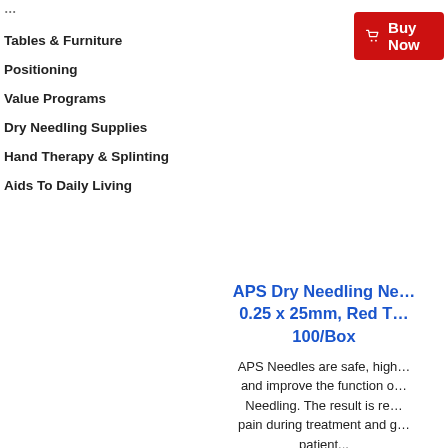Tables & Furniture
Positioning
Value Programs
Dry Needling Supplies
Hand Therapy & Splinting
Aids To Daily Living
[Figure (other): Red Buy Now button with shopping cart icon]
APS Dry Needling Ne… 0.25 x 25mm, Red T… 100/Box
APS Needles are safe, high… and improve the function o… Needling. The result is re… pain during treatment and g… patient...